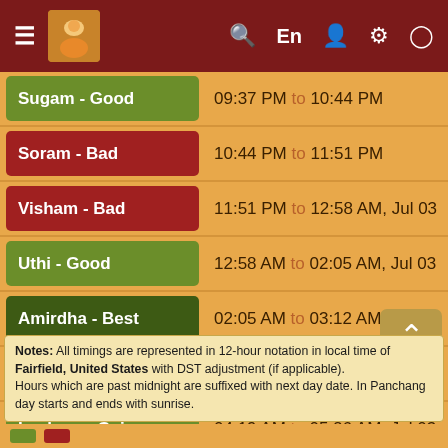≡ [logo] Search En Person Settings Clock
| Category | Time Range |
| --- | --- |
| Sugam - Good | 09:37 PM to 10:44 PM |
| Soram - Bad | 10:44 PM to 11:51 PM |
| Visham - Bad | 11:51 PM to 12:58 AM, Jul 03 |
| Uthi - Good | 12:58 AM to 02:05 AM, Jul 03 |
| Amirdha - Best | 02:05 AM to 03:12 AM, Jul 03 |
| Rogam - Evil | 03:12 AM to 04:19 AM, Jul 03 |
| Laabam - Gain | 04:19 AM to 05:26 AM, Jul 03 |
Notes: All timings are represented in 12-hour notation in local time of Fairfield, United States with DST adjustment (if applicable). Hours which are past midnight are suffixed with next day date. In Panchang day starts and ends with sunrise.